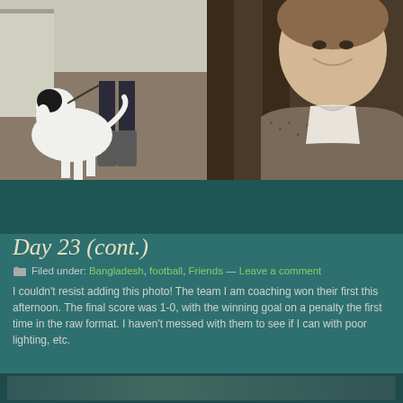[Figure (photo): Person standing with a black and white dog outdoors near a wooden structure, person wearing boots and dark pants]
[Figure (photo): Close-up of a smiling man wearing a brown/grey tweed blazer and white shirt]
Day 23 (cont.)
Filed under: Bangladesh, football, Friends — Leave a comment
I couldn't resist adding this photo!  The team I am coaching won their first this afternoon. The final score was 1-0, with the winning goal on a penalty the first time in the raw format.  I haven't messed with them to see if I can with poor lighting, etc.
[Figure (photo): Bottom partial photo strip showing an outdoor scene]